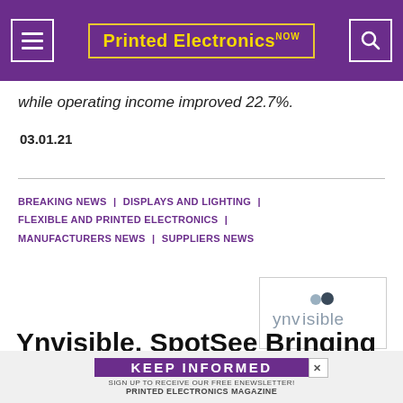Printed Electronics NOW
while operating income improved 22.7%.
03.01.21
BREAKING NEWS | DISPLAYS AND LIGHTING | FLEXIBLE AND PRINTED ELECTRONICS | MANUFACTURERS NEWS | SUPPLIERS NEWS
[Figure (logo): Ynvisible company logo showing two dots above the word 'ynvisible' in gray text]
Ynvisible, SpotSee Bringing New Temperature Indication
KEEP INFORMED — SIGN UP TO RECEIVE OUR FREE ENEWSLETTER! PRINTED ELECTRONICS MAGAZINE